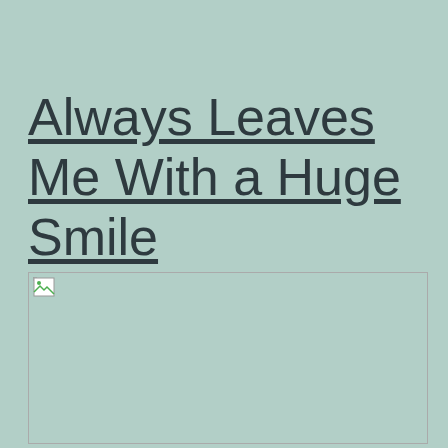Always Leaves Me With a Huge Smile
[Figure (photo): Broken image placeholder — a rectangular image box with a small broken image icon in the top-left corner, against a light teal background]